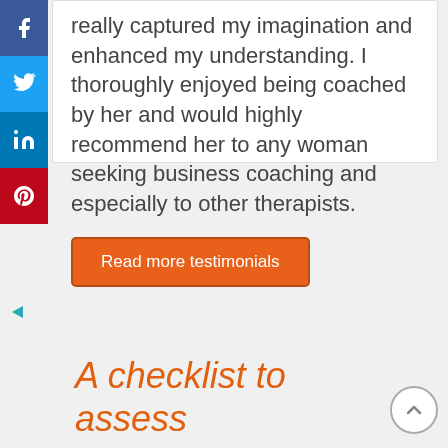[Figure (other): Social media sharing sidebar with Facebook, Twitter, LinkedIn, and Pinterest buttons]
really captured my imagination and enhanced my understanding. I thoroughly enjoyed being coached by her and would highly recommend her to any woman seeking business coaching and especially to other therapists.
Read more testimonials
[Figure (other): Left-pointing collapse arrow in teal color]
A checklist to assess